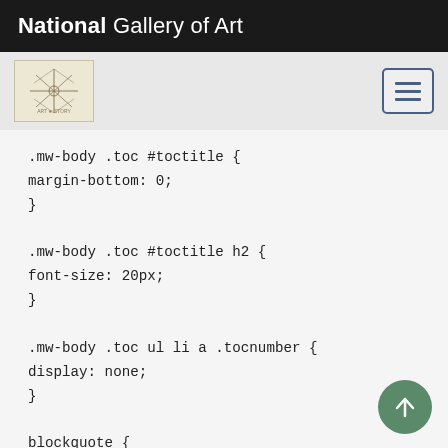National Gallery of Art
[Figure (logo): National Gallery of Art navigation bar with decorative logo icon and hamburger menu button]
.mw-body .toc #toctitle {
margin-bottom: 0;
}

.mw-body .toc #toctitle h2 {
font-size: 20px;
}

.mw-body .toc ul li a .tocnumber {
display: none;
}

blockquote {
font-size: 16px;
color: #555555;
line-height: 26px;